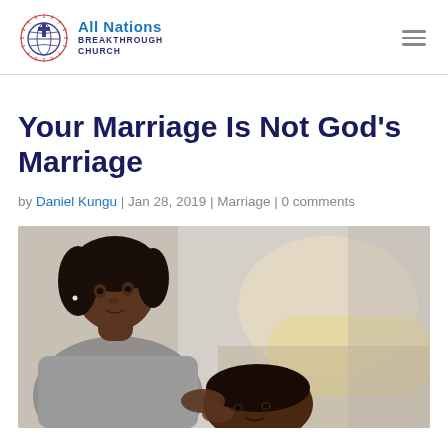All Nations Breakthrough Church
Your Marriage Is Not God's Marriage
by Daniel Kungu | Jan 28, 2019 | Marriage | 0 comments
[Figure (photo): A couple — a woman looking at a man who is lying down, both of African descent, in a warm indoor setting.]